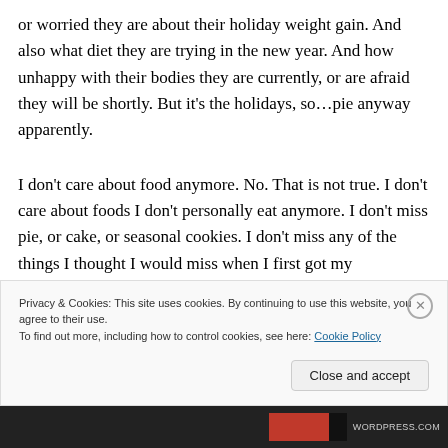or worried they are about their holiday weight gain. And also what diet they are trying in the new year. And how unhappy with their bodies they are currently, or are afraid they will be shortly. But it's the holidays, so…pie anyway apparently.
I don't care about food anymore. No. That is not true. I don't care about foods I don't personally eat anymore. I don't miss pie, or cake, or seasonal cookies. I don't miss any of the things I thought I would miss when I first got my
Privacy & Cookies: This site uses cookies. By continuing to use this website, you agree to their use.
To find out more, including how to control cookies, see here: Cookie Policy